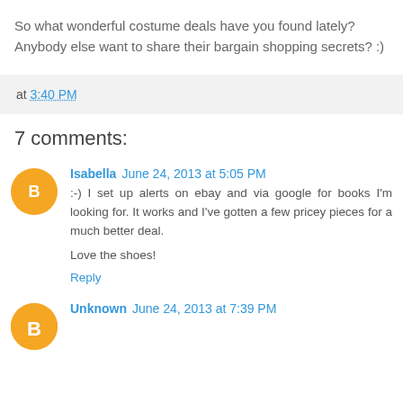So what wonderful costume deals have you found lately? Anybody else want to share their bargain shopping secrets? :)
at 3:40 PM
7 comments:
Isabella June 24, 2013 at 5:05 PM
:-) I set up alerts on ebay and via google for books I'm looking for. It works and I've gotten a few pricey pieces for a much better deal.

Love the shoes!
Reply
Unknown June 24, 2013 at 7:39 PM